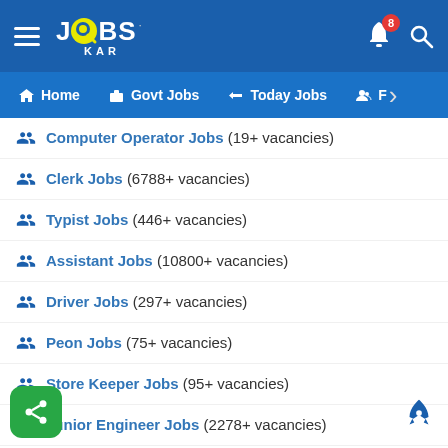[Figure (screenshot): JobsKAR app header with hamburger menu, logo, bell notification badge (8), and search icon]
[Figure (screenshot): Navigation bar with Home, Govt Jobs, Today Jobs, and partially visible F tab with right arrow]
Computer Operator Jobs (19+ vacancies)
Clerk Jobs (6788+ vacancies)
Typist Jobs (446+ vacancies)
Assistant Jobs (10800+ vacancies)
Driver Jobs (297+ vacancies)
Peon Jobs (75+ vacancies)
Store Keeper Jobs (95+ vacancies)
Junior Engineer Jobs (2278+ vacancies)
Assistant Engineer Jobs (274+ vacancies)
Lab Assistant Jobs (200+ vacancies)